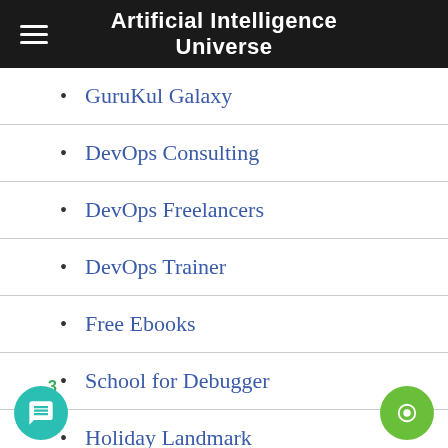Artificial Intelligence Universe
GuruKul Galaxy
DevOps Consulting
DevOps Freelancers
DevOps Trainer
Free Ebooks
School for Debugger
Holiday Landmark
Surgery Planet
My Hospital Now
My Medic Plus